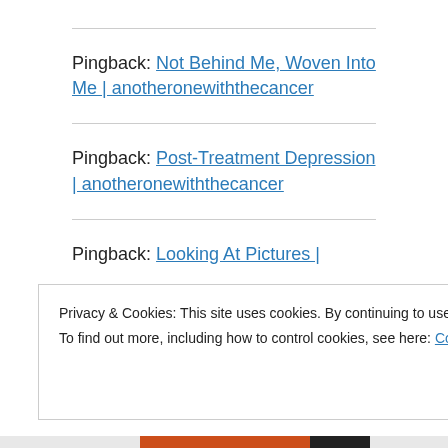Pingback: Not Behind Me, Woven Into Me | anotheronewiththecancer
Pingback: Post-Treatment Depression | anotheronewiththecancer
Pingback: Looking At Pictures |
Privacy & Cookies: This site uses cookies. By continuing to use this website, you agree to their use.
To find out more, including how to control cookies, see here: Cookie Policy